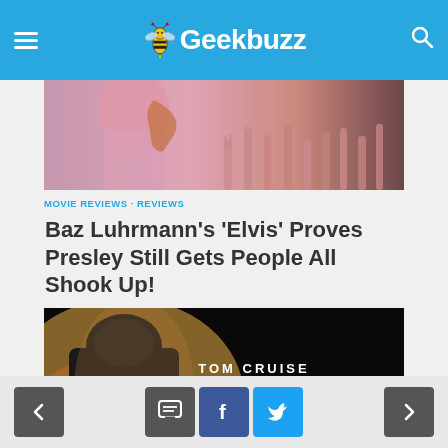Geekbuzz
[Figure (photo): Concert photo showing a performer in pink clothing playing guitar with crowd reaching up]
MOVIE REVIEWS · REVIEWS
Baz Luhrmann's 'Elvis' Proves Presley Still Gets People All Shook Up!
[Figure (photo): Top Gun: Maverick movie promotional image showing Tom Cruise from behind in pilot jacket with Top Gun Maverick logo on dark background]
< comment facebook twitter >